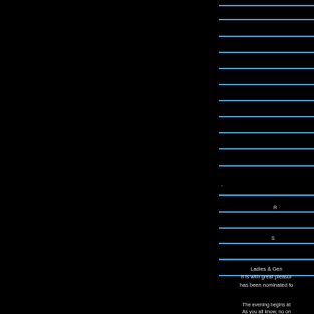[Figure (other): Black background with horizontal blue neon lines on the right portion of the page]
.
R
S
Ladies & Gen
It is with great pleasur
has been nominated fo
The evening begins at
As you all know, no on
as possible s
Link to buy tickets onlin
coming to see", yo
http://bridgin
Even if you can't att
Blessings, Love &
KLED Live Fr